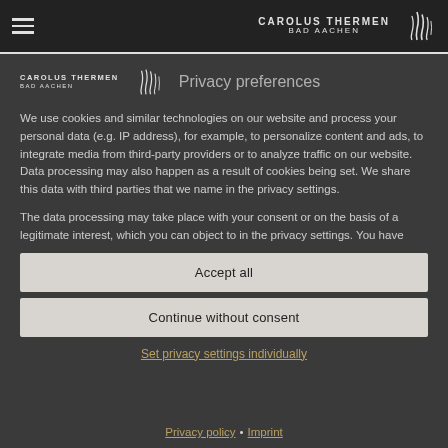CAROLUS THERMEN BAD AACHEN — navigation bar with hamburger menu and logo
Privacy preferences
We use cookies and similar technologies on our website and process your personal data (e.g. IP address), for example, to personalize content and ads, to integrate media from third-party providers or to analyze traffic on our website. Data processing may also happen as a result of cookies being set. We share this data with third parties that we name in the privacy settings.
The data processing may take place with your consent or on the basis of a legitimate interest, which you can object to in the privacy settings. You have
Accept all
Continue without consent
Set privacy settings individually
Privacy policy • Imprint